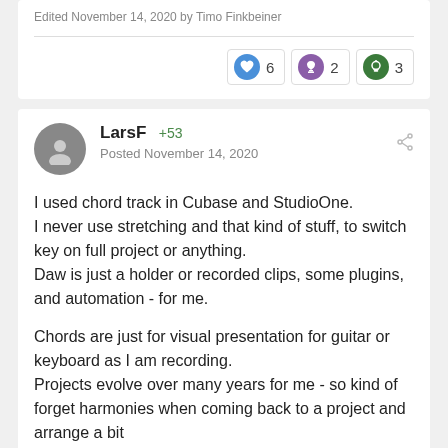Edited November 14, 2020 by Timo Finkbeiner
[Figure (infographic): Reaction badges showing: heart icon (blue) with count 6, trophy icon (purple) with count 2, lightbulb icon (green) with count 3]
LarsF +53
Posted November 14, 2020
I used chord track in Cubase and StudioOne.
I never use stretching and that kind of stuff, to switch key on full project or anything.
Daw is just a holder or recorded clips, some plugins, and automation - for me.

Chords are just for visual presentation for guitar or keyboard as I am recording.
Projects evolve over many years for me - so kind of forget harmonies when coming back to a project and arrange a bit